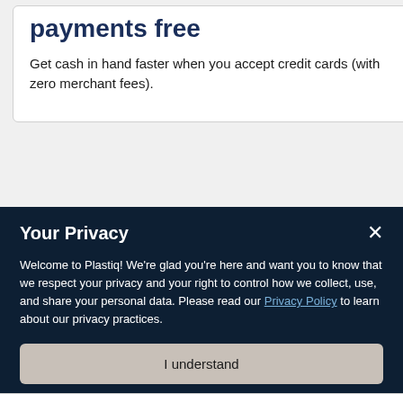payments free
Get cash in hand faster when you accept credit cards (with zero merchant fees).
Your Privacy
Welcome to Plastiq! We're glad you're here and want you to know that we respect your privacy and your right to control how we collect, use, and share your personal data. Please read our Privacy Policy to learn about our privacy practices.
I understand